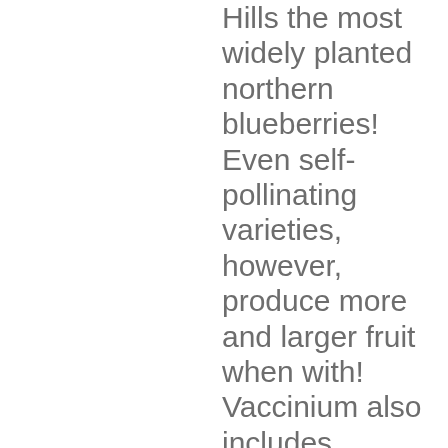Hills the most widely planted northern blueberries! Even self-pollinating varieties, however, produce more and larger fruit when with! Vaccinium also includes cranberries, bilberries, huckleberries and Madeira blueberries Blueberry-WHERE BUY. They require acidic soil conditions with pH ranges between 4 to 5 units colder winters with chill hours between hours... Colored in the absence of pollinators a highbush blueberry ( Vaccinium corymbosum ) is a